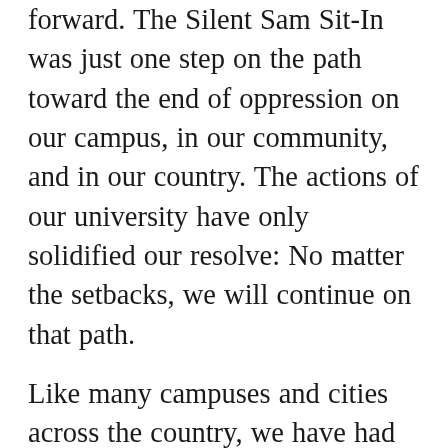forward. The Silent Sam Sit-In was just one step on the path toward the end of oppression on our campus, in our community, and in our country. The actions of our university have only solidified our resolve: No matter the setbacks, we will continue on that path.
Like many campuses and cities across the country, we have had to face a moral and ethical battle at the University of North Carolina at Chapel Hill: Do we stand up for equality of all people, or do we defend white supremacy by endorsing its symbolic manifestations? As the students of the UNC Silent Sam Sit-In, we continue to call upon